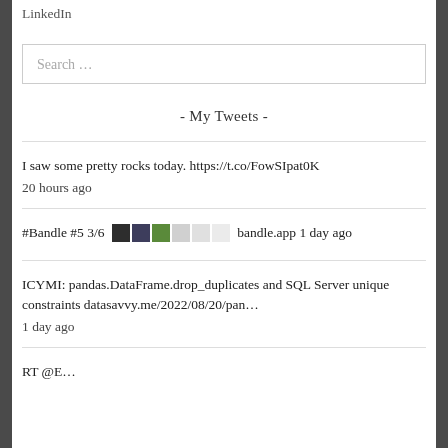LinkedIn
Search …
- My Tweets -
I saw some pretty rocks today. https://t.co/FowSIpat0K
20 hours ago
#Bandle #5 3/6 [colored squares] bandle.app 1 day ago
ICYMI: pandas.DataFrame.drop_duplicates and SQL Server unique constraints datasavvy.me/2022/08/20/pan…
1 day ago
RT @E…